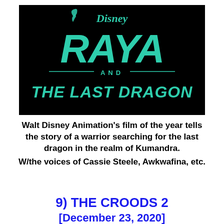[Figure (logo): Disney 'Raya and the Last Dragon' movie logo — teal/green stylized text on black background. Disney wordmark at top, large stylized 'RAYA' with dragon motif, 'AND' in small text, 'THE LAST DRAGON' in bold caps below.]
Walt Disney Animation's film of the year tells the story of a warrior searching for the last dragon in the realm of Kumandra.
W/the voices of Cassie Steele, Awkwafina, etc.
9) THE CROODS 2
[December 23, 2020]